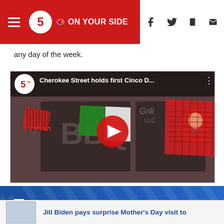5 On Your Side
any day of the week.
[Figure (screenshot): YouTube video thumbnail showing Cherokee Street Cinco de Mayo celebration with colorful papel picado banners. Title reads: Cherokee Street holds first Cinco D...]
Related Articles
Jill Biden pays surprise Mother's Day visit to